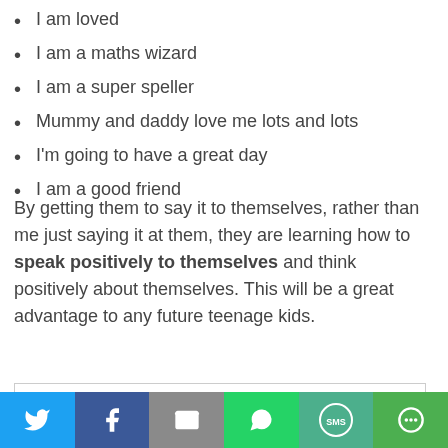I am loved
I am a maths wizard
I am a super speller
Mummy and daddy love me lots and lots
I'm going to have a great day
I am a good friend
By getting them to say it to themselves, rather than me just saying it at them, they are learning how to speak positively to themselves and think positively about themselves. This will be a great advantage to any future teenage kids.
Privacy & Cookies: This site uses cookies. By continuing to use this website, you agree to their use.
To find out more, including how to control cookies, see here: Our Privacy Policy